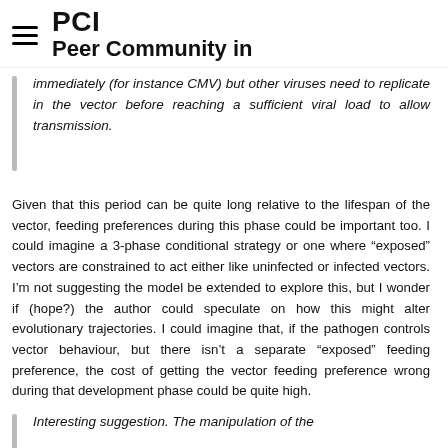PCI Peer Community in
immediately (for instance CMV) but other viruses need to replicate in the vector before reaching a sufficient viral load to allow transmission.
Given that this period can be quite long relative to the lifespan of the vector, feeding preferences during this phase could be important too. I could imagine a 3-phase conditional strategy or one where “exposed” vectors are constrained to act either like uninfected or infected vectors. I’m not suggesting the model be extended to explore this, but I wonder if (hope?) the author could speculate on how this might alter evolutionary trajectories. I could imagine that, if the pathogen controls vector behaviour, but there isn’t a separate “exposed” feeding preference, the cost of getting the vector feeding preference wrong during that development phase could be quite high.
Interesting suggestion. The manipulation of the